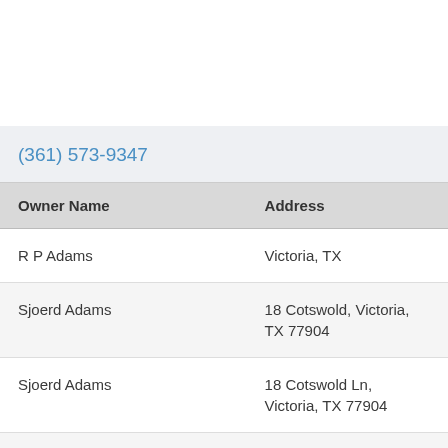(361) 573-9347
| Owner Name | Address |
| --- | --- |
| R P Adams | Victoria, TX |
| Sjoerd Adams | 18 Cotswold, Victoria, TX 77904 |
| Sjoerd Adams | 18 Cotswold Ln, Victoria, TX 77904 |
| Sipriana M Adams | 2505 Loma Vista Ave, Victoria, TX 77901 |
| Sjoerd Adams | 2505 Loma Vista Ave, Victoria, |